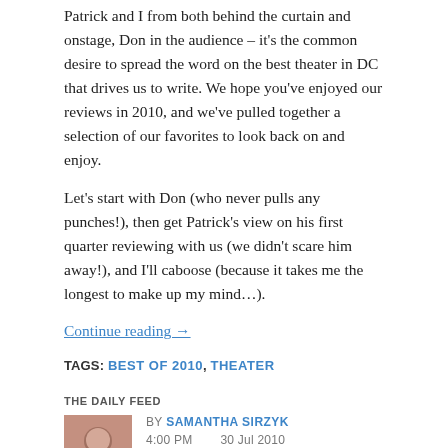Patrick and I from both behind the curtain and onstage, Don in the audience – it's the common desire to spread the word on the best theater in DC that drives us to write. We hope you've enjoyed our reviews in 2010, and we've pulled together a selection of our favorites to look back on and enjoy.
Let's start with Don (who never pulls any punches!), then get Patrick's view on his first quarter reviewing with us (we didn't scare him away!), and I'll caboose (because it takes me the longest to make up my mind...).
Continue reading →
TAGS: BEST OF 2010, THEATER
THE DAILY FEED
BY SAMANTHA SIRZYK
4:00 PM   30 JUL 2010